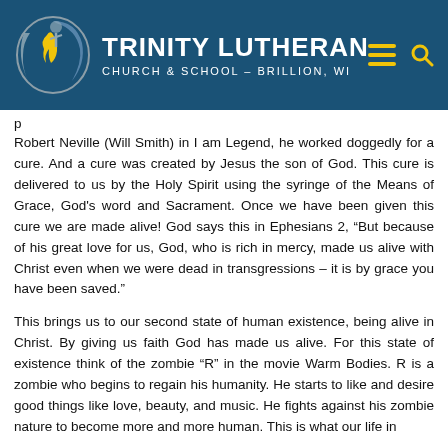[Figure (logo): Trinity Lutheran Church & School - Brillion, WI logo with circular emblem showing a flame and cross, with navigation menu and search icons]
Robert Neville (Will Smith) in I am Legend, he worked doggedly for a cure. And a cure was created by Jesus the son of God. This cure is delivered to us by the Holy Spirit using the syringe of the Means of Grace, God's word and Sacrament. Once we have been given this cure we are made alive! God says this in Ephesians 2, “But because of his great love for us, God, who is rich in mercy, made us alive with Christ even when we were dead in transgressions – it is by grace you have been saved.”
This brings us to our second state of human existence, being alive in Christ. By giving us faith God has made us alive. For this state of existence think of the zombie “R” in the movie Warm Bodies. R is a zombie who begins to regain his humanity. He starts to like and desire good things like love, beauty, and music. He fights against his zombie nature to become more and more human. This is what our life in